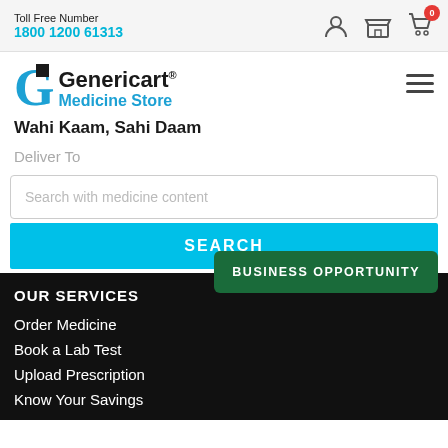Toll Free Number 1800 1200 61313
[Figure (logo): Genericart Medicine Store logo with G lettermark, text 'Genericart® Medicine Store' and tagline 'Wahi Kaam, Sahi Daam']
Deliver To
Search with medicine content
SEARCH
OUR SERVICES
BUSINESS OPPORTUNITY
Order Medicine
Book a Lab Test
Upload Prescription
Know Your Savings